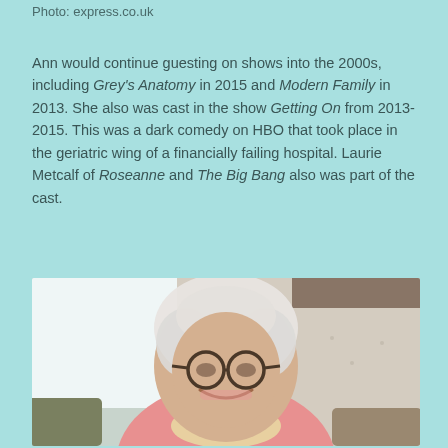Photo: express.co.uk
Ann would continue guesting on shows into the 2000s, including Grey's Anatomy in 2015 and Modern Family in 2013. She also was cast in the show Getting On from 2013-2015. This was a dark comedy on HBO that took place in the geriatric wing of a financially failing hospital. Laurie Metcalf of Roseanne and The Big Bang also was part of the cast.
[Figure (photo): Elderly woman with white curly hair, wearing glasses and a pink cardigan with a floral scarf, smiling warmly indoors]